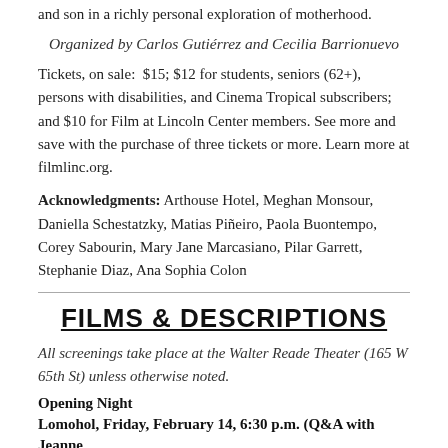and son in a richly personal exploration of motherhood.
Organized by Carlos Gutiérrez and Cecilia Barrionuevo
Tickets, on sale:  $15; $12 for students, seniors (62+), persons with disabilities, and Cinema Tropical subscribers; and $10 for Film at Lincoln Center members. See more and save with the purchase of three tickets or more. Learn more at filmlinc.org.
Acknowledgments: Arthouse Hotel, Meghan Monsour, Daniella Schestatzky, Matias Piñeiro, Paola Buontempo, Corey Sabourin, Mary Jane Marcasiano, Pilar Garrett, Stephanie Diaz, Ana Sophia Colon
FILMS & DESCRIPTIONS
All screenings take place at the Walter Reade Theater (165 W 65th St) unless otherwise noted.
Opening Night
Lomohol, Friday, February 14, 6:30 p.m. (Q&A with Jeanne